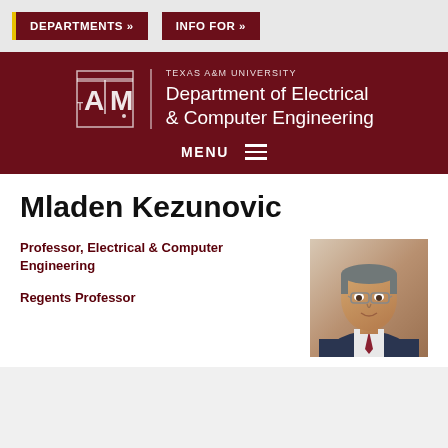DEPARTMENTS »   INFO FOR »
[Figure (logo): Texas A&M University Department of Electrical & Computer Engineering header banner with TAMU logo, department name, and MENU button]
Mladen Kezunovic
Professor, Electrical & Computer Engineering
Regents Professor
[Figure (photo): Professional headshot of Mladen Kezunovic, a middle-aged man with glasses wearing a suit]